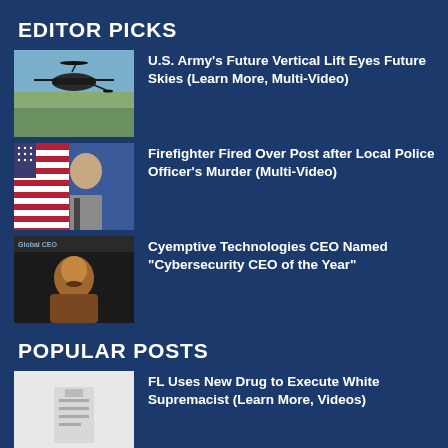EDITOR PICKS
U.S. Army's Future Vertical Lift Eyes Future Skies (Learn More, Multi-Video)
Firefighter Fired Over Post after Local Police Officer's Murder (Multi-Video)
Cyemptive Technologies CEO Named “Cybersecurity CEO of the Year”
POPULAR POSTS
FL Uses New Drug to Execute White Supremacist (Learn More, Videos)
DHS Secretary on Election Systems’